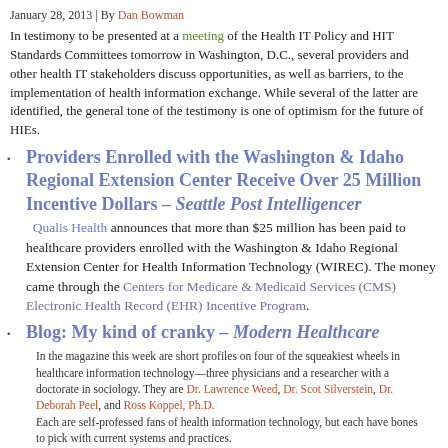January 28, 2013 | By Dan Bowman
In testimony to be presented at a meeting of the Health IT Policy and HIT Standards Committees tomorrow in Washington, D.C., several providers and other health IT stakeholders discuss opportunities, as well as barriers, to the implementation of health information exchange. While several of the latter are identified, the general tone of the testimony is one of optimism for the future of HIEs.
Providers Enrolled with the Washington & Idaho Regional Extension Center Receive Over 25 Million Incentive Dollars – Seattle Post Intelligencer
Qualis Health announces that more than $25 million has been paid to healthcare providers enrolled with the Washington & Idaho Regional Extension Center for Health Information Technology (WIREC). The money came through the Centers for Medicare & Medicaid Services (CMS) Electronic Health Record (EHR) Incentive Program.
Blog: My kind of cranky – Modern Healthcare
In the magazine this week are short profiles on four of the squeakiest wheels in healthcare information technology—three physicians and a researcher with a doctorate in sociology. They are Dr. Lawrence Weed, Dr. Scot Silverstein, Dr. Deborah Peel, and Ross Koppel, Ph.D. Each are self-professed fans of health information technology, but each have bones to pick with current systems and practices.
ONC reports aim to boost understanding of HIE efforts – Fierc…